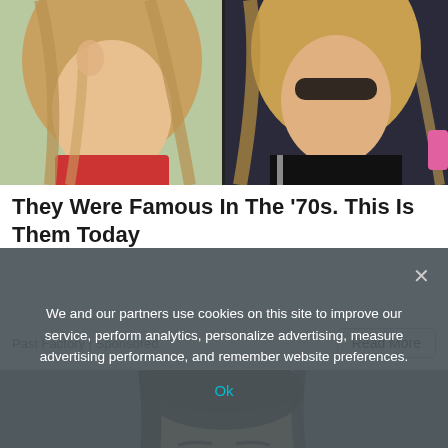[Figure (photo): Two side-by-side photos of blonde women, one in a red top outdoors, one in a black jacket]
They Were Famous In The '70s. This Is Them Today
Past Factory | Sponsored
Read More
[Figure (photo): Close-up photo of a young man with dark hair against a grey background, eyes looking slightly upward]
We and our partners use cookies on this site to improve our service, perform analytics, personalize advertising, measure advertising performance, and remember website preferences.
Ok